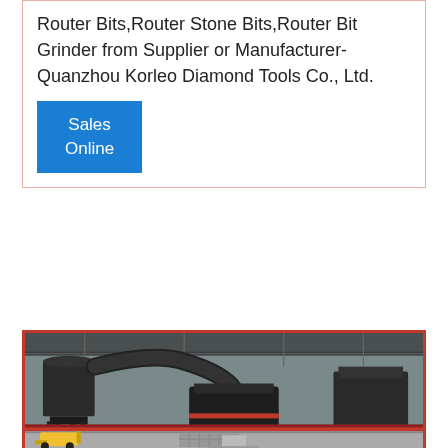Router Bits,Router Stone Bits,Router Bit Grinder from Supplier or Manufacturer-Quanzhou Korleo Diamond Tools Co., Ltd.
Sales Online
[Figure (photo): Interior of an industrial factory or workshop showing large machinery including what appears to be a grinding/crushing machine with dust collection pipes and ducts overhead, conveyor systems, and other heavy equipment. A yellow forklift is visible in the foreground.]